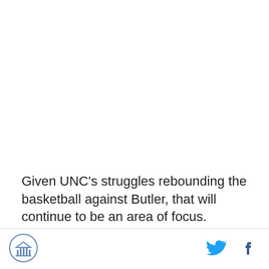Given UNC's struggles rebounding the basketball against Butler, that will continue to be an area of focus.
[Figure (logo): Circular logo with a building/monument icon, blue outline on white background]
[Figure (logo): Twitter bird icon in cyan/blue]
[Figure (logo): Facebook 'f' icon in dark blue]